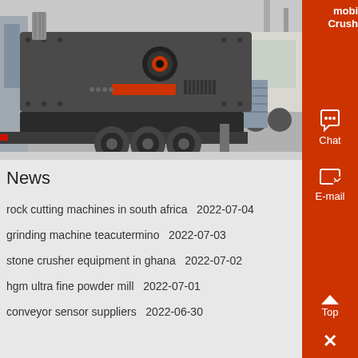[Figure (photo): Large mobile crushing machine on a truck/trailer with multiple wheels, photographed inside an industrial warehouse. The machine is dark grey/black with heavy-duty tires.]
News
rock cutting machines in south africa  2022-07-04
grinding machine teacutermino  2022-07-03
stone crusher equipment in ghana  2022-07-02
hgm ultra fine powder mill  2022-07-01
conveyor sensor suppliers  2022-06-30